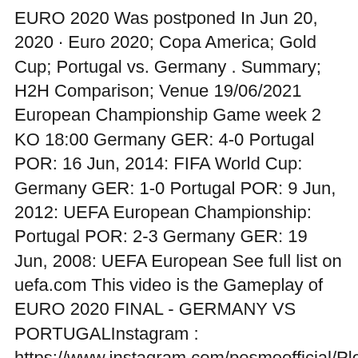EURO 2020 Was postponed In Jun 20, 2020 · Euro 2020; Copa America; Gold Cup; Portugal vs. Germany . Summary; H2H Comparison; Venue 19/06/2021 European Championship Game week 2 KO 18:00 Germany GER: 4-0 Portugal POR: 16 Jun, 2014: FIFA World Cup: Germany GER: 1-0 Portugal POR: 9 Jun, 2012: UEFA European Championship: Portugal POR: 2-3 Germany GER: 19 Jun, 2008: UEFA European See full list on uefa.com This video is the Gameplay of EURO 2020 FINAL - GERMANY VS PORTUGALInstagram : https://www.instagram.com/pesmeofficial/Please Share your feedback and opinion Euro 2020 (Group F) - Portugal Vs Germany - 19th June 2021 - FIFA 21A Battle For The Ages AS Two Heavyweights Clash For A Victory!LIVE FROM EURO 2020!Don't F May 24, 2021 · UEFA EURO 2020 will take place between 11 June and 11 July 2021.